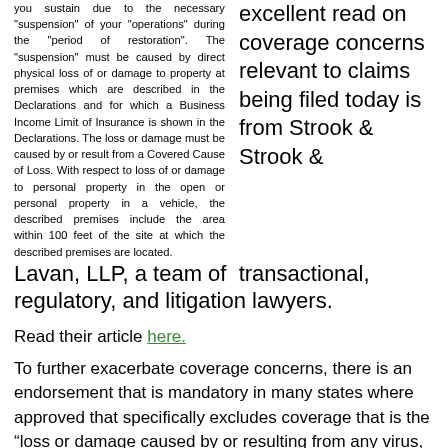you sustain due to the necessary "suspension" of your "operations" during the "period of restoration". The "suspension" must be caused by direct physical loss of or damage to property at premises which are described in the Declarations and for which a Business Income Limit of Insurance is shown in the Declarations. The loss or damage must be caused by or result from a Covered Cause of Loss. With respect to loss of or damage to personal property in the open or personal property in a vehicle, the described premises include the area within 100 feet of the site at which the described premises are located.
excellent read on coverage concerns relevant to claims being filed today is from Strook & Strook & Lavan, LLP, a team of transactional, regulatory, and litigation lawyers.
Read their article here.
To further exacerbate coverage concerns, there is an endorsement that is mandatory in many states where approved that specifically excludes coverage that is the “loss or damage caused by or resulting from any virus, bacterium, or other microorganism that induces or is capable of inducing physical distress, illness or disease.” (CP 01 40)